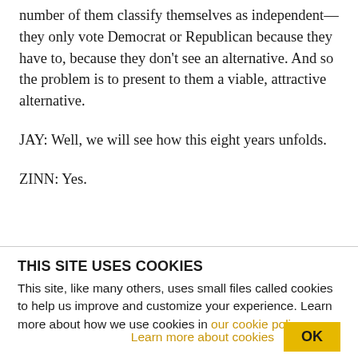number of them classify themselves as independent—they only vote Democrat or Republican because they have to, because they don't see an alternative. And so the problem is to present to them a viable, attractive alternative.
JAY: Well, we will see how this eight years unfolds.
ZINN: Yes.
THIS SITE USES COOKIES
This site, like many others, uses small files called cookies to help us improve and customize your experience. Learn more about how we use cookies in our cookie policy.
Learn more about cookies
OK